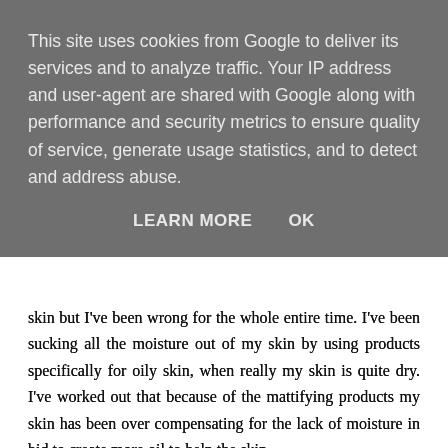This site uses cookies from Google to deliver its services and to analyze traffic. Your IP address and user-agent are shared with Google along with performance and security metrics to ensure quality of service, generate usage statistics, and to detect and address abuse.
LEARN MORE    OK
skin but I've been wrong for the whole entire time. I've been sucking all the moisture out of my skin by using products specifically for oily skin, when really my skin is quite dry. I've worked out that because of the mattifying products my skin has been over compensating for the lack of moisture in bid to create more oil to help the skin.
I have been incredibly silly, I should of paid attention to the fact that when I wake up in the morning my skin isn't oily at all, even my T-Zone. I am happy enough to admit that I have been a fool in regards to paying attention to my skin, and it does have my sincere apologies.
My skin all over is sensitive and dry, I even have psoriasis on my scalp and my elbows which isn't pleasant to have. But in regards to my daily routine of looking after my skin on my face I use just three